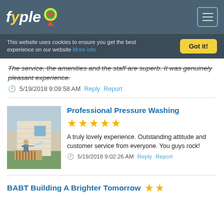fyple (logo with navigation)
This website uses cookies to ensure you get the best experience on our website More info
The service, the amenities and the staff are superb. It was genuinely pleasant experience.
5/19/2018 9:09:58 AM  Reply  Report
[Figure (photo): Photo of a person pressure washing a wooden deck next to a house]
Professional Pressure Washing — 5 stars — A truly lovely experience. Outstanding attitude and customer service from everyone. You guys rock! — 5/19/2018 9:02:26 AM  Reply  Report
BABT Building A Brighter Tomorrow  ★ ★